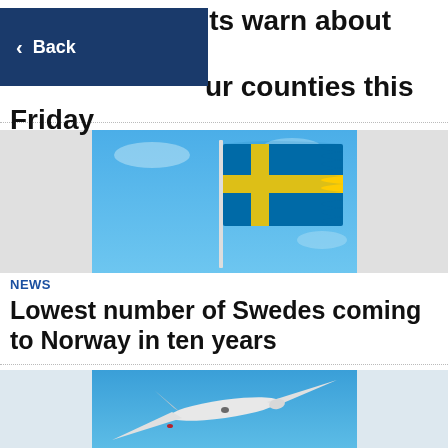Meteorologists warn about large ... our counties this Friday
[Figure (screenshot): Back navigation button overlay on top of headline, dark blue background with white left arrow and 'Back' text]
[Figure (photo): Swedish flag (blue with yellow cross) waving against a blue sky, mounted on a white flagpole]
NEWS
Lowest number of Swedes coming to Norway in ten years
[Figure (photo): White aircraft (possibly military) flying against a blue sky, photographed from below/side at an angle]